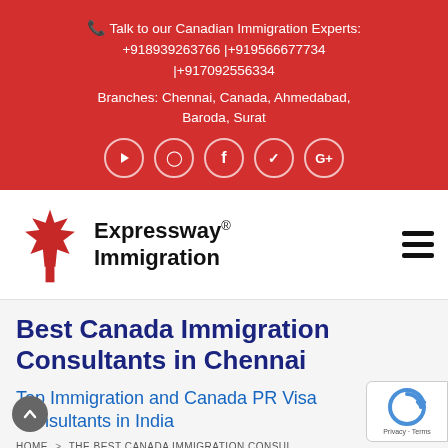Talk to our Canadian Immigration Experts: +918939263766 | +919566677734 | +917092556334
Branches: Chennai, Canada, Ahmedabad, Baroda, Surat
[Figure (logo): Expressway Immigration logo with maple leaf and company name]
Best Canada Immigration Consultants in Chennai
Top Immigration and Canada PR Visa Consultants in India
HOME > THE BEST CANADA IMMIGRATION CONSUL...